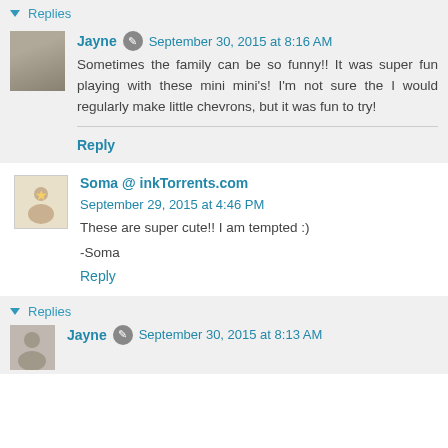Replies
Jayne · September 30, 2015 at 8:16 AM
Sometimes the family can be so funny!! It was super fun playing with these mini mini's! I'm not sure the I would regularly make little chevrons, but it was fun to try!
Reply
Soma @ inkTorrents.com  September 29, 2015 at 4:46 PM
These are super cute!! I am tempted :)
-Soma
Reply
Replies
Jayne · September 30, 2015 at 8:13 AM